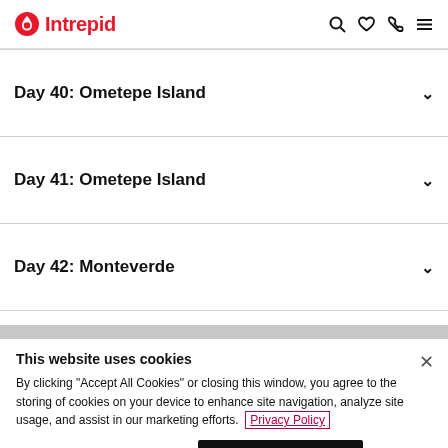Intrepid
Day 40: Ometepe Island
Day 41: Ometepe Island
Day 42: Monteverde
This website uses cookies
By clicking "Accept All Cookies" or closing this window, you agree to the storing of cookies on your device to enhance site navigation, analyze site usage, and assist in our marketing efforts. Privacy Policy
Cookies Settings | Accept All Cookies